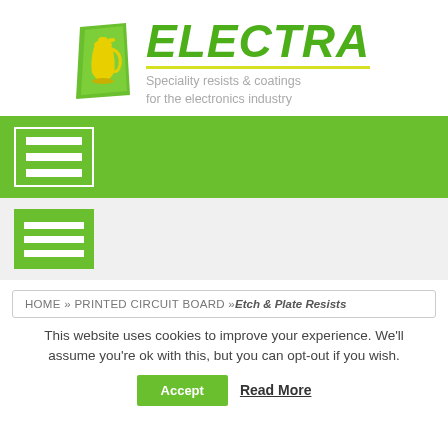[Figure (logo): Electra logo with green jug icon and green italic ELECTRA text with yellow underline and tagline 'Speciality resists & coatings for the electronics industry']
[Figure (other): Green navigation bar with white hamburger menu icon in white bordered box]
[Figure (other): Gray section with green hamburger menu icon]
HOME » PRINTED CIRCUIT BOARD »Etch & Plate Resists
This website uses cookies to improve your experience. We'll assume you're ok with this, but you can opt-out if you wish.
Accept   Read More